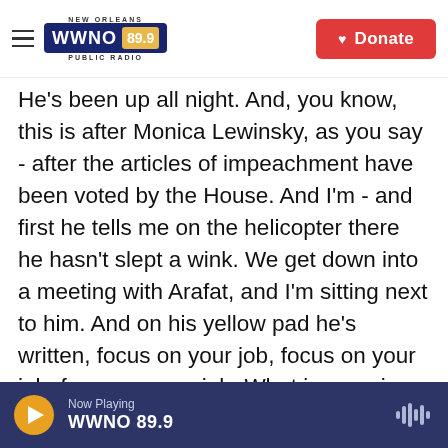WWNO 89.9 New Orleans Public Radio — Donate
He's been up all night. And, you know, this is after Monica Lewinsky, as you say - after the articles of impeachment have been voted by the House. And I'm - and first he tells me on the helicopter there he hasn't slept a wink. We get down into a meeting with Arafat, and I'm sitting next to him. And on his yellow pad he's written, focus on your job, focus on your job, focus on your job. What is amazing to me, even to this day, is not only how he performs in the meeting, he gives a speech, which is an unbelievably moving speech in which, by the way, I had done most of the drafting on. And he gets up there and he ad-libs it. and most of the people in
Now Playing WWNO 89.9